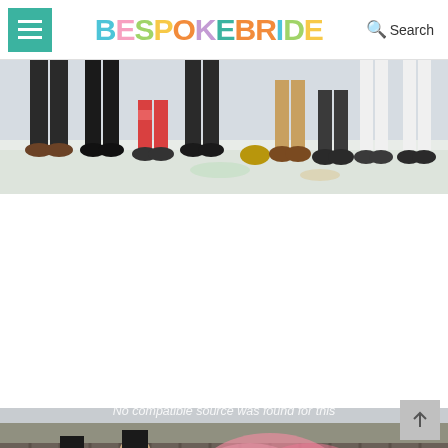BESPOKE BRIDE — Search
[Figure (photo): Cropped photo showing the lower bodies and legs of a wedding party standing in snow, wearing various boots and shoes]
[Figure (photo): Wedding party throwing colorful powder (Holi-style) outdoors in front of a weathered barn in winter. People wearing top hats and colorful outfits. Text overlay reads: No compatible source was found for this]